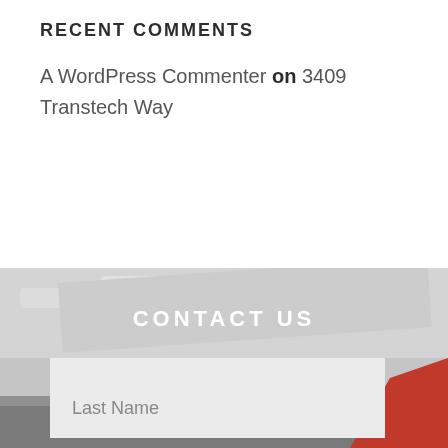RECENT COMMENTS
A WordPress Commenter on 3409 Transtech Way
[Figure (photo): Grayscale background photo showing a landscape with sky and terrain, with a red element visible at lower right. A contact form overlay is shown with First Name and Last Name fields.]
CONTACT US
First Name
Last Name